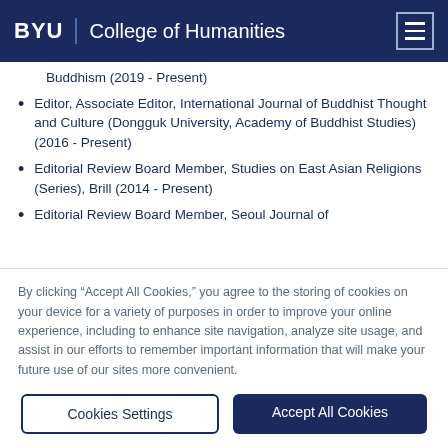BYU | College of Humanities
Buddhism (2019 - Present)
Editor, Associate Editor, International Journal of Buddhist Thought and Culture (Dongguk University, Academy of Buddhist Studies) (2016 - Present)
Editorial Review Board Member, Studies on East Asian Religions (Series), Brill (2014 - Present)
Editorial Review Board Member, Seoul Journal of
By clicking “Accept All Cookies,” you agree to the storing of cookies on your device for a variety of purposes in order to improve your online experience, including to enhance site navigation, analyze site usage, and assist in our efforts to remember important information that will make your future use of our sites more convenient.
Cookies Settings
Accept All Cookies